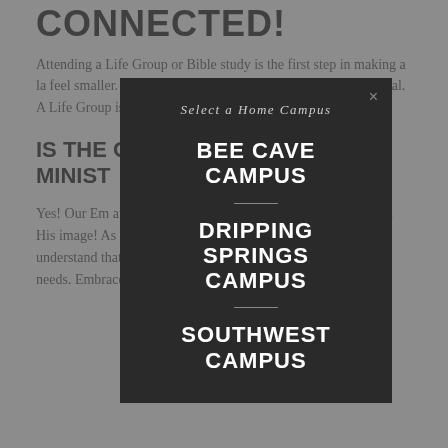CONNECTED!
Attending a Life Group or Bible study is the first step in making a large church feel smaller. A great way to grow in your relationship... personal relationships... goal. A Life Group is the... relationships... receiving more information... Group.
IS THE... OS MINISTRY...
Yes! Our Em... campus meets on S... dge, we believe that... d special in His image! As we long to reach kids and families in Austin, we understand that some of His children have unique abilities and needs. Embrace Ministry is designed to
[Figure (screenshot): Modal dialog with dark background overlaying the page content, titled 'Select a Home Campus' with three campus options: BEE CAVE CAMPUS, DRIPPING SPRINGS CAMPUS, SOUTHWEST CAMPUS, each separated by a horizontal divider line. A close (×) button is in the top right corner.]